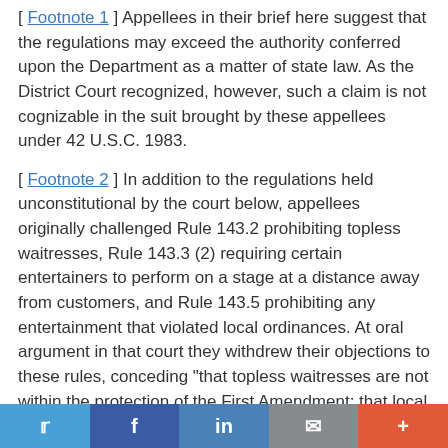[ Footnote 1 ] Appellees in their brief here suggest that the regulations may exceed the authority conferred upon the Department as a matter of state law. As the District Court recognized, however, such a claim is not cognizable in the suit brought by these appellees under 42 U.S.C. 1983.
[ Footnote 2 ] In addition to the regulations held unconstitutional by the court below, appellees originally challenged Rule 143.2 prohibiting topless waitresses, Rule 143.3 (2) requiring certain entertainers to perform on a stage at a distance away from customers, and Rule 143.5 prohibiting any entertainment that violated local ordinances. At oral argument in that court they withdrew their objections to these rules, conceding "that topless waitresses are not within the protection of the First Amendment; that local ordinances must be independently challenged depending upon their content; and that the requirement that certain